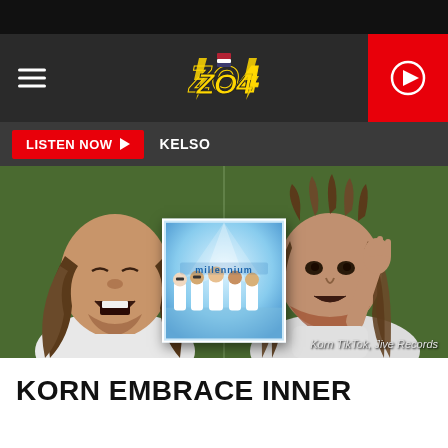[Figure (screenshot): Website header with hamburger menu icon on left, stylized '104' logo in center, and red play button on right, on dark background]
LISTEN NOW  KELSO
[Figure (photo): Two men with long dreadlocks singing or reacting expressively in front of green background. A Backstreet Boys 'Millennium' album cover is overlaid in the center. Credit: Korn TikTok, Jive Records]
Korn TikTok, Jive Records
KORN EMBRACE INNER